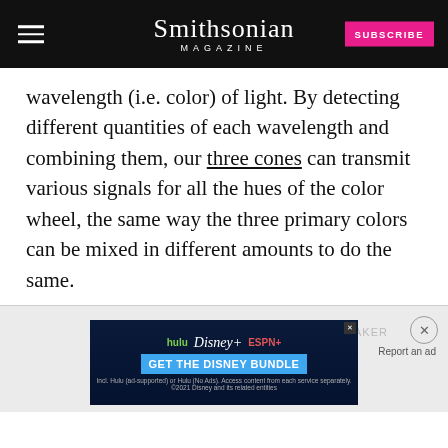Smithsonian MAGAZINE
wavelength (i.e. color) of light. By detecting different quantities of each wavelength and combining them, our three cones can transmit various signals for all the hues of the color wheel, the same way the three primary colors can be mixed in different amounts to do the same.
[Figure (screenshot): Disney Bundle advertisement showing Hulu, Disney+, ESPN+ logos with 'GET THE DISNEY BUNDLE' call to action button. Fine print: Incl. Hulu (ad-supported) or Hulu (No Ads). Access content from each service separately. ©2021 Disney and its related entities]